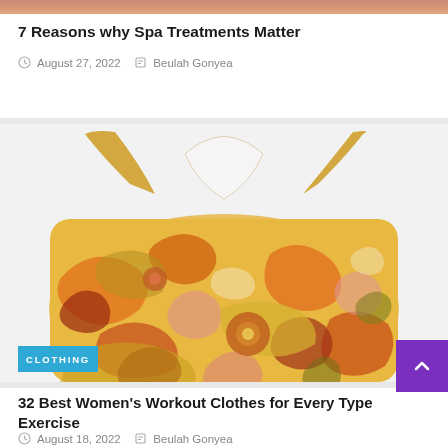[Figure (photo): Partial view of a spa/skin treatment photo at the very top of the page]
7 Reasons why Spa Treatments Matter
August 27, 2022   Beulah Gonyea
[Figure (photo): Colorful retro-patterned women's sports bra / workout top with orange, yellow, red, pink swirl floral pattern, shown against light grey background. A blue 'CLOTHING' badge is in the bottom-left corner.]
32 Best Women's Workout Clothes for Every Type of Exercise
August 18, 2022   Beulah Gonyea